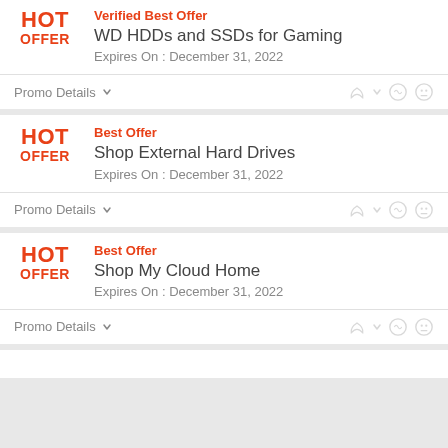Verified Best Offer
WD HDDs and SSDs for Gaming
Expires On : December 31, 2022
Promo Details
Best Offer
Shop External Hard Drives
Expires On : December 31, 2022
Promo Details
Best Offer
Shop My Cloud Home
Expires On : December 31, 2022
Promo Details